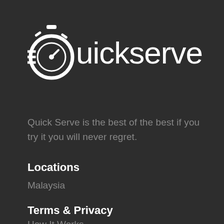[Figure (logo): Quickserve app logo with stopwatch icon and text 'Quickserve']
Quick Serve is the best of the best if you try it you will never regret.
Locations
Malaysia
Terms & Privacy
How It Works